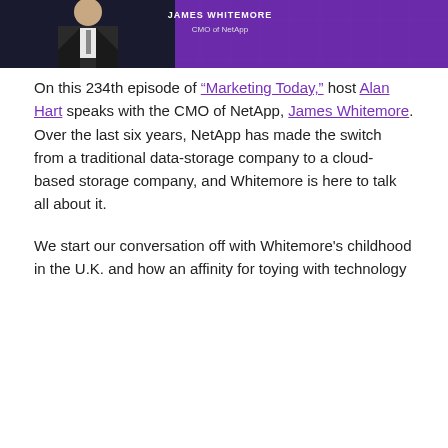[Figure (photo): Hero banner image showing a man in a suit against a purple background. White text reads 'CMO of NetApp' in the upper right.]
On this 234th episode of "Marketing Today," host Alan Hart speaks with the CMO of NetApp, James Whitemore. Over the last six years, NetApp has made the switch from a traditional data-storage company to a cloud-based storage company, and Whitemore is here to talk all about it.
We start our conversation off with Whitemore's childhood in the U.K. and how an affinity for toying with technology